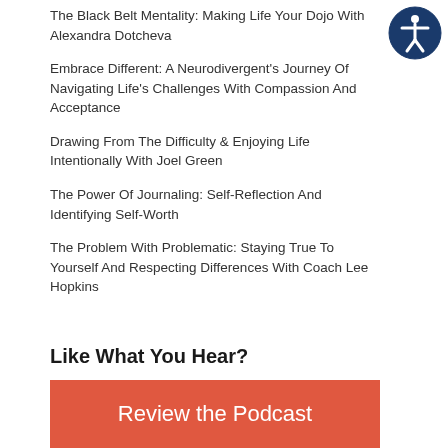The Black Belt Mentality: Making Life Your Dojo With Alexandra Dotcheva
Embrace Different: A Neurodivergent's Journey Of Navigating Life's Challenges With Compassion And Acceptance
Drawing From The Difficulty & Enjoying Life Intentionally With Joel Green
The Power Of Journaling: Self-Reflection And Identifying Self-Worth
The Problem With Problematic: Staying True To Yourself And Respecting Differences With Coach Lee Hopkins
Like What You Hear?
[Figure (other): Red button with white text reading 'Review the Podcast']